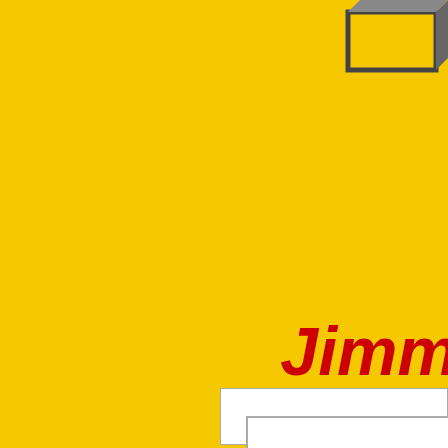[Figure (illustration): Yellow background page with a partial 3D box graphic in the upper right corner, red bold italic text reading 'Jimm' (partially cropped) in the lower right area, a white horizontal bar below the text, and a partial white box element at the bottom right. The overall design appears to be a cover or branding page, possibly for a 'Jimmy' branded product or book, cropped so only the right portion and lower section are visible.]